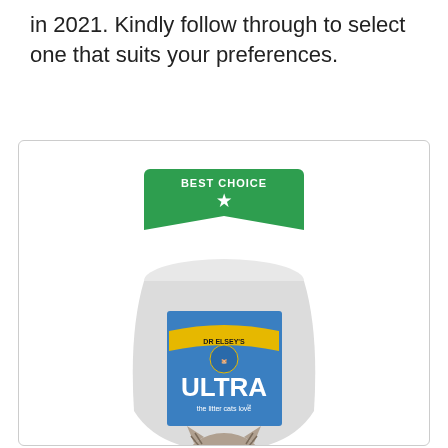in 2021. Kindly follow through to select one that suits your preferences.
[Figure (photo): A white bag of Dr. Elsey's ULTRA cat litter with a blue label panel showing the Dr. Elsey's logo and 'ULTRA the litter cats love' text, shown inside a card/box with a 'BEST CHOICE' green badge at the top. A tabby cat is visible at the bottom of the image looking upward.]